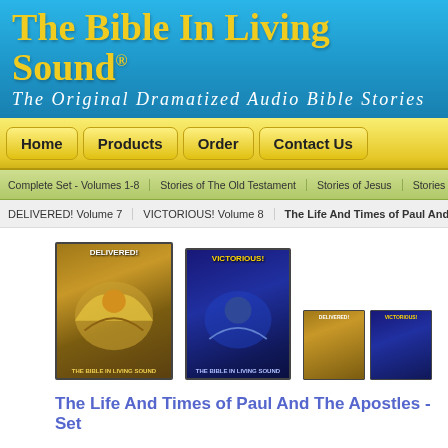The Bible In Living Sound® The Original Dramatized Audio Bible Stories
Home | Products | Order | Contact Us
Complete Set - Volumes 1-8 | Stories of The Old Testament | Stories of Jesus | Stories of Paul a...
DELIVERED! Volume 7 | VICTORIOUS! Volume 8 | The Life And Times of Paul And The Apostles - S...
[Figure (photo): Product images: two large CD/audio set covers (DELIVERED Volume 7 with golden eagle artwork, VICTORIOUS Volume 8 with dark blue artwork) and two smaller thumbnail versions of the same covers]
The Life And Times of Paul And The Apostles - Set
Paul and the Apostles. All of the audio Bible stories from LIFE OF PAUL in one set from the apostles in the upper room to Paul being faithful